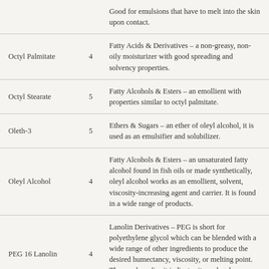| Name | Num | Description |
| --- | --- | --- |
|  |  | Good for emulsions that have to melt into the skin upon contact. |
| Octyl Palmitate | 4 | Fatty Acids & Derivatives – a non-greasy, non-oily moisturizer with good spreading and solvency properties. |
| Octyl Stearate | 5 | Fatty Alcohols & Esters – an emollient with properties similar to octyl palmitate. |
| Oleth-3 | 5 | Ethers & Sugars – an ether of oleyl alcohol, it is used as an emulsifier and solubilizer. |
| Oleyl Alcohol | 4 | Fatty Alcohols & Esters – an unsaturated fatty alcohol found in fish oils or made synthetically, oleyl alcohol works as an emollient, solvent, viscosity-increasing agent and carrier. It is found in a wide range of products. |
| PEG 16 Lanolin | 4 | Lanolin Derivatives – PEG is short for polyethylene glycol which can be blended with a wide range of other ingredients to produce the desired humectancy, viscosity, or melting point. The number after it indicates its molecular weight. |